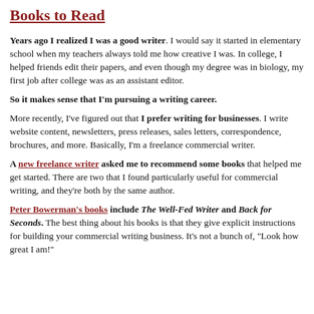Books to Read
Years ago I realized I was a good writer. I would say it started in elementary school when my teachers always told me how creative I was. In college, I helped friends edit their papers, and even though my degree was in biology, my first job after college was as an assistant editor.
So it makes sense that I'm pursuing a writing career.
More recently, I've figured out that I prefer writing for businesses. I write website content, newsletters, press releases, sales letters, correspondence, brochures, and more. Basically, I'm a freelance commercial writer.
A new freelance writer asked me to recommend some books that helped me get started. There are two that I found particularly useful for commercial writing, and they're both by the same author.
Peter Bowerman's books include The Well-Fed Writer and Back for Seconds. The best thing about his books is that they give explicit instructions for building your commercial writing business. It's not a bunch of, "Look how great I am!"